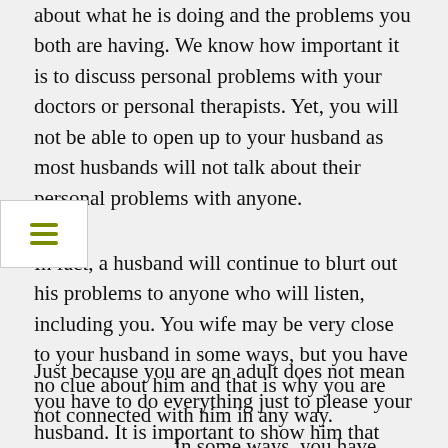about what he is doing and the problems you both are having. We know how important it is to discuss personal problems with your doctors or personal therapists. Yet, you will not be able to open up to your husband as most husbands will not talk about their personal problems with anyone.
In fact, a husband will continue to blurt out his problems to anyone who will listen, including you. You wife may be very close to your husband in some ways, but you have no clue about him and that is why you are not connected with him in any way. In some ways, you have shared no secrets with your husband. So, it is very important to keep that gap open in your relationship and talk about how you feel out loud to each other.
Just because you are an adult does not mean you have to do everything just to please your husband. It is important to show him that you still care about him and that you want to be with him. You husband will likely be very grateful to you for thinking